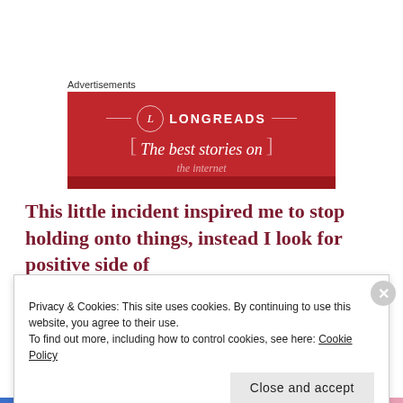Advertisements
[Figure (logo): Longreads advertisement banner — red background with LONGREADS logo and text 'The best stories on']
This little incident inspired me to stop holding onto things, instead I look for positive side of
Privacy & Cookies: This site uses cookies. By continuing to use this website, you agree to their use.
To find out more, including how to control cookies, see here: Cookie Policy
Close and accept